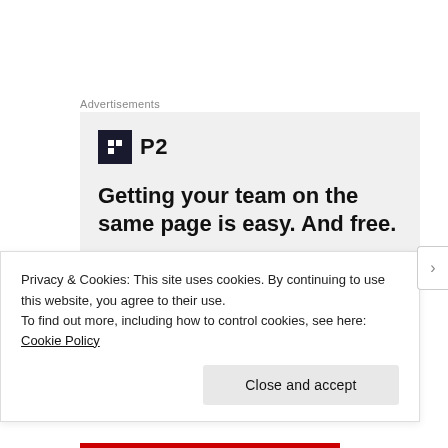Advertisements
[Figure (infographic): P2 advertisement with logo, headline text 'Getting your team on the same page is easy. And free.' and row of user avatars]
Privacy & Cookies: This site uses cookies. By continuing to use this website, you agree to their use.
To find out more, including how to control cookies, see here: Cookie Policy
Close and accept